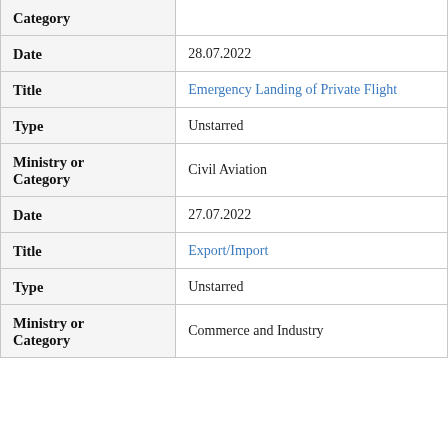| Field | Value |
| --- | --- |
| Category |  |
| Date | 28.07.2022 |
| Title | Emergency Landing of Private Flight |
| Type | Unstarred |
| Ministry or Category | Civil Aviation |
| Date | 27.07.2022 |
| Title | Export/Import |
| Type | Unstarred |
| Ministry or Category | Commerce and Industry |